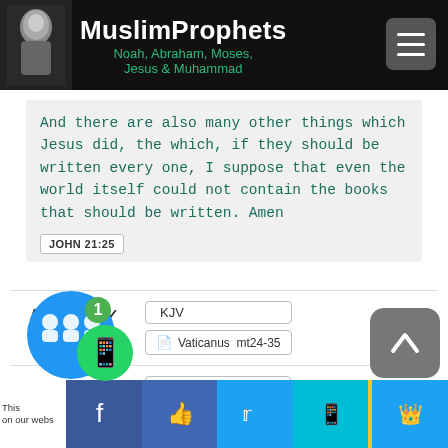MuslimProphets — Noah, Abraham, Moses, Jesus & Muhammad
And there are also many other things which Jesus did, the which, if they should be written every one, I suppose that even the world itself could not contain the books that should be written. Amen
JOHN 21:25
ATTESTED ✓   KJV   Vaticanus mt24-35
OMITTED ✗   Sinaiticus mt24-35